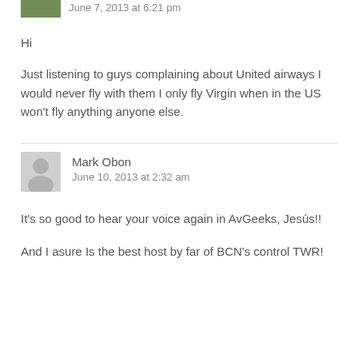June 7, 2013 at 6:21 pm
Hi
Just listening to guys complaining about United airways I would never fly with them I only fly Virgin when in the US won't fly anything anyone else.
Mark Obon
June 10, 2013 at 2:32 am
It's so good to hear your voice again in AvGeeks, Jesús!!
And I asure Is the best host by far of BCN's control TWR!